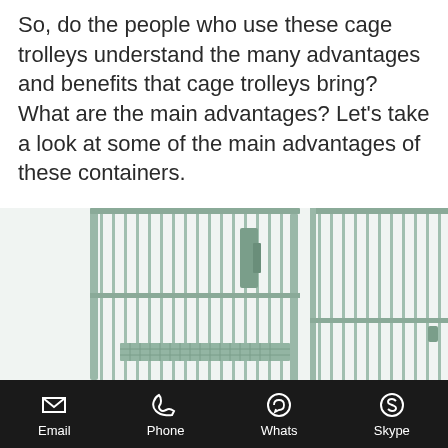So, do the people who use these cage trolleys understand the many advantages and benefits that cage trolleys bring? What are the main advantages? Let's take a look at some of the main advantages of these containers.
[Figure (photo): Close-up photo of metal wire cage trolleys/roll cages with wire mesh shelving and metal bars, shown in silver/grey metallic finish against a white background.]
Email  Phone  Whats  Skype